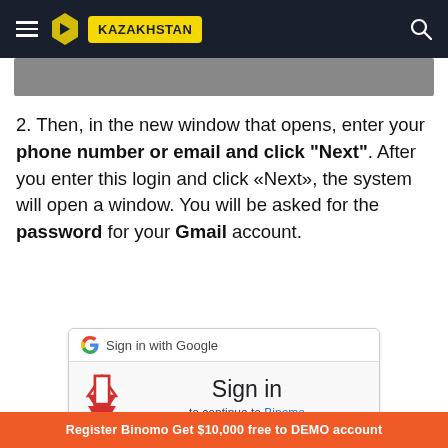KAZAKHSTAN
[Figure (screenshot): Partially visible gray banner/image area below the header navigation]
2. Then, in the new window that opens, enter your phone number or email and click "Next". After you enter this login and click «Next», the system will open a window. You will be asked for the password for your Gmail account.
[Figure (screenshot): Google Sign in dialog screenshot showing 'Sign in with Google' header, a red downward arrow, 'Sign in' title, and 'to continue to Binomo' subtitle]
Register Binomo Get $10,000 free to DEMO account